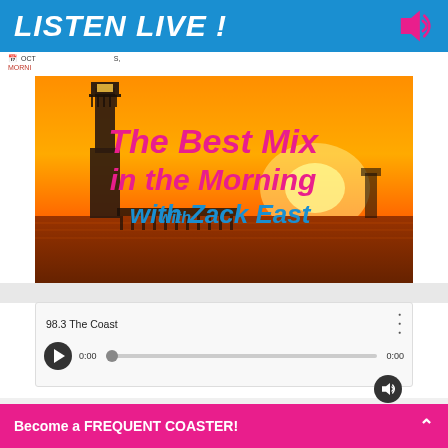[Figure (infographic): Blue banner with white bold italic text 'LISTEN LIVE !' and a pink speaker/sound icon on the right]
OCT ... S, MORNING...
[Figure (photo): Lighthouse silhouette against an orange sunset sky over water, with overlaid text 'The Best Mix in the Morning with Zack East' in pink and blue italic fonts]
[Figure (screenshot): Audio player widget showing '98.3 The Coast', time 0:00, play button, progress bar, and volume button]
98.3 The Coast
0:00
0:00
Become a FREQUENT COASTER!